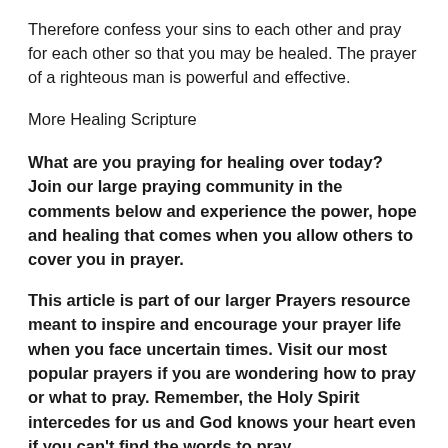Therefore confess your sins to each other and pray for each other so that you may be healed. The prayer of a righteous man is powerful and effective.
More Healing Scripture
What are you praying for healing over today? Join our large praying community in the comments below and experience the power, hope and healing that comes when you allow others to cover you in prayer.
This article is part of our larger Prayers resource meant to inspire and encourage your prayer life when you face uncertain times. Visit our most popular prayers if you are wondering how to pray or what to pray. Remember, the Holy Spirit intercedes for us and God knows your heart even if you can't find the words to pray.